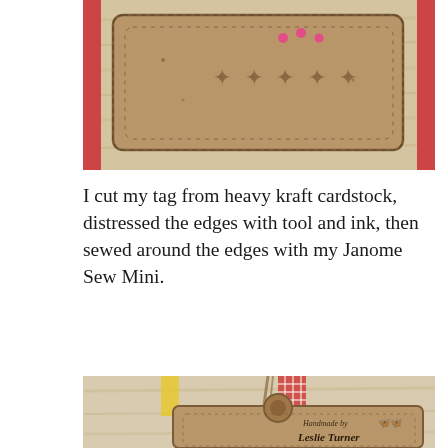[Figure (photo): Close-up photo of a kraft cardstock tag with distressed edges and stitching, pink rhinestones visible, on a wooden background]
I cut my tag from heavy kraft cardstock, distressed the edges with tool and ink, then sewed around the edges with my Janome Sew Mini.
[Figure (photo): Photo of a handmade kraft tag with gingham ribbon, twine, stitched edges, pink rhinestone flourish, butterfly embellishment, and sentiment strips reading 'live simply...' and 'live generously'. Stamped with 'Handmade by Leslie Turner for Mix It Up Challenge Blog Design Team'.]